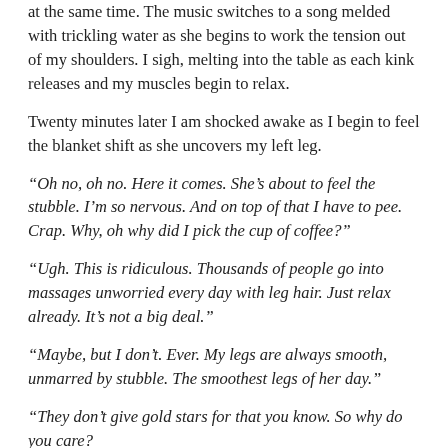at the same time. The music switches to a song melded with trickling water as she begins to work the tension out of my shoulders. I sigh, melting into the table as each kink releases and my muscles begin to relax.
Twenty minutes later I am shocked awake as I begin to feel the blanket shift as she uncovers my left leg.
“Oh no, oh no. Here it comes. She’s about to feel the stubble. I’m so nervous. And on top of that I have to pee. Crap. Why, oh why did I pick the cup of coffee?”
“Ugh. This is ridiculous. Thousands of people go into massages unworried every day with leg hair. Just relax already. It’s not a big deal.”
“Maybe, but I don’t. Ever. My legs are always smooth, unmarred by stubble. The smoothest legs of her day.”
“They don’t give gold stars for that you know. So why do you care?